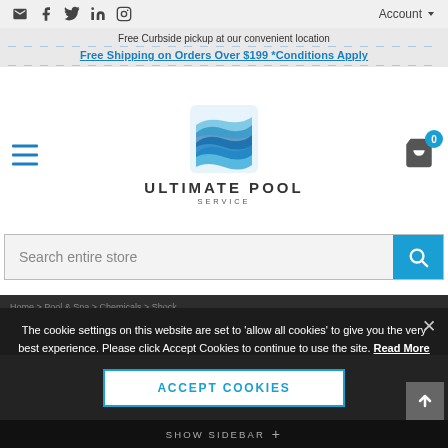Social icons (email, facebook, twitter, linkedin, instagram) | Account
Free Curbside pickup at our convenient location
Free Shipping on Orders Over $199 *Conditions Apply
[Figure (logo): Ultimate Pool Service logo with blue wave icon and text ULTIMATE POOL SERVICE]
Search entire store
The cookie settings on this website are set to 'allow all cookies' to give you the very best experience. Please click Accept Cookies to continue to use the site. Read More
ACCEPT COOKIES
SHOW SIDEBAR +